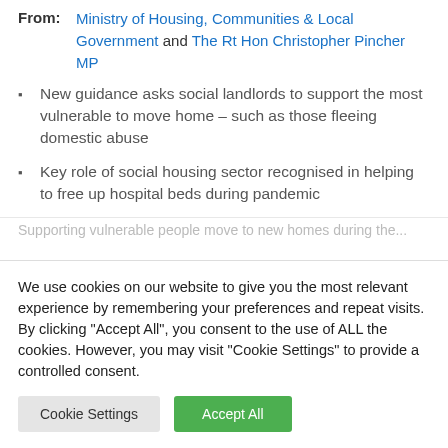From: Ministry of Housing, Communities & Local Government and The Rt Hon Christopher Pincher MP
New guidance asks social landlords to support the most vulnerable to move home – such as those fleeing domestic abuse
Key role of social housing sector recognised in helping to free up hospital beds during pandemic
Supporting vulnerable people move to new homes during the...
We use cookies on our website to give you the most relevant experience by remembering your preferences and repeat visits. By clicking "Accept All", you consent to the use of ALL the cookies. However, you may visit "Cookie Settings" to provide a controlled consent.